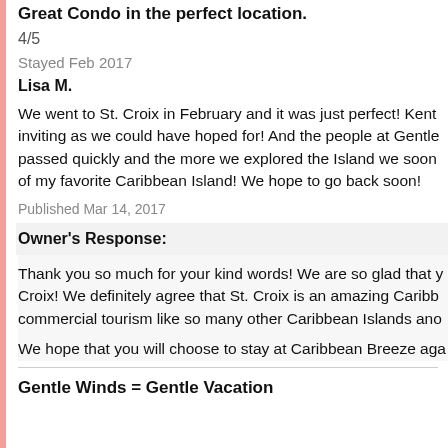Great Condo in the perfect location.
4/5
Stayed Feb 2017
Lisa M.
We went to St. Croix in February and it was just perfect! Kent inviting as we could have hoped for! And the people at Gentle passed quickly and the more we explored the Island we soon of my favorite Caribbean Island! We hope to go back soon!
Published Mar 14, 2017
Owner's Response:
Thank you so much for your kind words! We are so glad that y Croix! We definitely agree that St. Croix is an amazing Caribb commercial tourism like so many other Caribbean Islands ano
We hope that you will choose to stay at Caribbean Breeze aga
Gentle Winds = Gentle Vacation